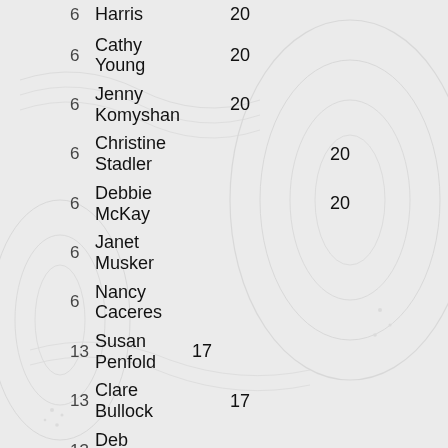| Rank | Name | Score |
| --- | --- | --- |
| 6 | Harris | 20 |
| 6 | Cathy Young | 20 |
| 6 | Jenny Komyshan | 20 |
| 6 | Christine Stadler | 20 |
| 6 | Debbie McKay | 20 |
| 6 | Janet Musker | 20 |
| 6 | Nancy Caceres | 20 |
| 13 | Susan Penfold | 17 |
| 13 | Clare Bullock | 17 |
| 13 | Deb Dowson | 17 |
| 13 | Polly Weston | 17 |